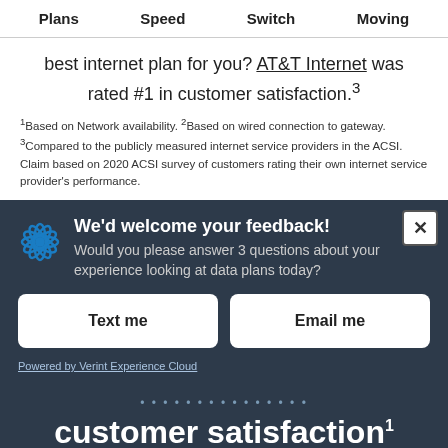Plans   Speed   Switch   Moving
best internet plan for you? AT&T Internet was rated #1 in customer satisfaction.³
¹Based on Network availability. ²Based on wired connection to gateway. ³Compared to the publicly measured internet service providers in the ACSI. Claim based on 2020 ACSI survey of customers rating their own internet service provider's performance.
[Figure (screenshot): AT&T feedback modal with We'd welcome your feedback! heading, subtitle about 3 questions on data plans, Text me and Email me buttons, and Powered by Verint Experience Cloud footer]
customer satisfaction¹